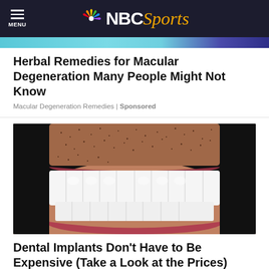MENU | NBC Sports
[Figure (photo): Partial banner/ad image visible at top, showing teal and dark blue colors]
Herbal Remedies for Macular Degeneration Many People Might Not Know
Macular Degeneration Remedies | Sponsored
[Figure (photo): Close-up photo of a man's smile showing very white teeth and stubble beard]
Dental Implants Don't Have to Be Expensive (Take a Look at the Prices)